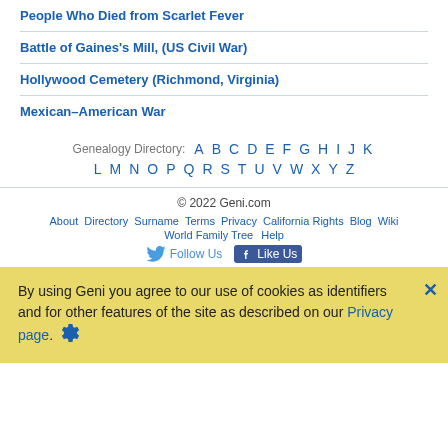People Who Died from Scarlet Fever
Battle of Gaines's Mill, (US Civil War)
Hollywood Cemetery (Richmond, Virginia)
Mexican–American War
Genealogy Directory: A B C D E F G H I J K L M N O P Q R S T U V W X Y Z
© 2022 Geni.com | About | Directory | Surname | Terms | Privacy | California Rights | Blog | Wiki | World Family Tree | Help | Follow Us | Like Us
By using Geni you agree to our use of cookies as identifiers and for other features of the site as described on our Privacy page.